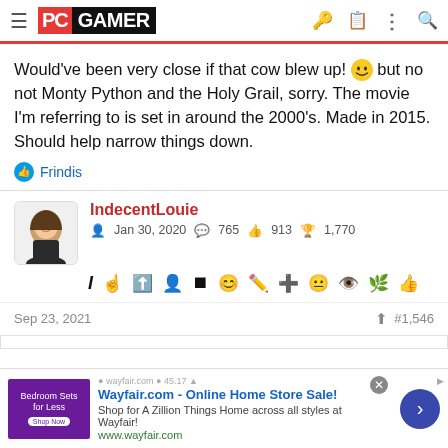PC GAMER
Would've been very close if that cow blew up! 😆 but no not Monty Python and the Holy Grail, sorry. The movie I'm referring to is set in around the 2000's. Made in 2015. Should help narrow things down.
👍 Frindis
IndecentLouie  Jan 30, 2020  765  913  1,770
Sep 23, 2021  #1,546
[Figure (screenshot): Advertisement for Wayfair.com - Online Home Store Sale! Shop for A Zillion Things Home across all styles at Wayfair! www.wayfair.com]